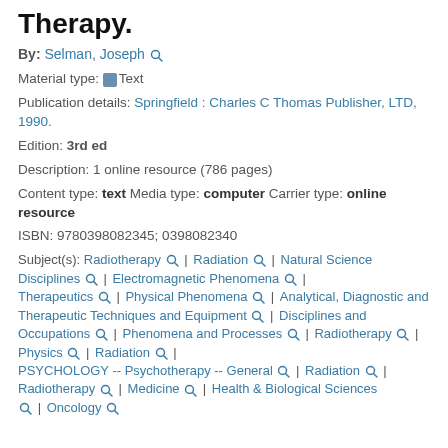Therapy.
By: Selman, Joseph
Material type: Text
Publication details: Springfield : Charles C Thomas Publisher, LTD, 1990.
Edition: 3rd ed
Description: 1 online resource (786 pages)
Content type: text Media type: computer Carrier type: online resource
ISBN: 9780398082345; 0398082340
Subject(s): Radiotherapy | Radiation | Natural Science Disciplines | Electromagnetic Phenomena | Therapeutics | Physical Phenomena | Analytical, Diagnostic and Therapeutic Techniques and Equipment | Disciplines and Occupations | Phenomena and Processes | Radiotherapy | Physics | Radiation | PSYCHOLOGY -- Psychotherapy -- General | Radiation | Radiotherapy | Medicine | Health & Biological Sciences | Oncology